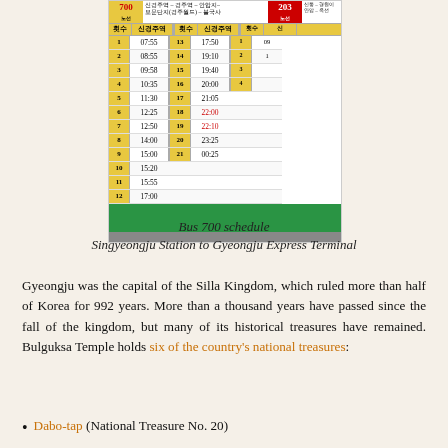[Figure (photo): Bus 700 schedule board showing departure times from Singyeongju Station. Left column shows trips 1-12 with times 07:55 to 17:00, right column shows trips 13-21 with times 17:50 to 00:25. Yellow numbered rows, white time cells.]
Bus 700 schedule
Singyeongju Station to Gyeongju Express Terminal
Gyeongju was the capital of the Silla Kingdom, which ruled more than half of Korea for 992 years. More than a thousand years have passed since the fall of the kingdom, but many of its historical treasures have remained. Bulguksa Temple holds six of the country's national treasures:
Dabo-tap (National Treasure No. 20)